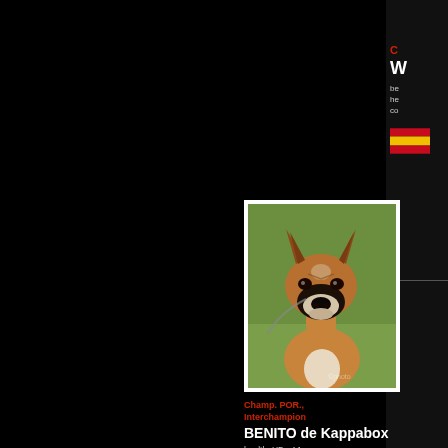C
W
be he co
[Figure (photo): Spanish flag icon, partially visible on right edge of page]
[Figure (photo): Portrait photo of a Boxer dog (BENITO de Kappabox) sitting on grass, looking at camera, fawn and white coloring with cropped ears]
Champ. POR., Interchampion
BENITO de Kappabox
health: HD - A1, training: TS - IPO 1 - ZTP